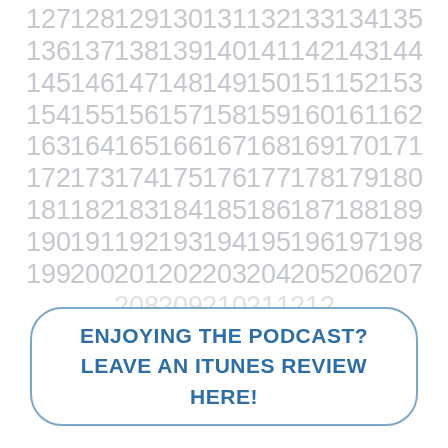127 128 129 130 131 132 133 134 135
136 137 138 139 140 141 142 143 144
145 146 147 148 149 150 151 152 153
154 155 156 157 158 159 160 161 162
163 164 165 166 167 168 169 170 171
172 173 174 175 176 177 178 179 180
181 182 183 184 185 186 187 188 189
190 191 192 193 194 195 196 197 198
199 200 201 202 203 204 205 206 207
208 209 210 211 212...
ENJOYING THE PODCAST? LEAVE AN ITUNES REVIEW HERE!